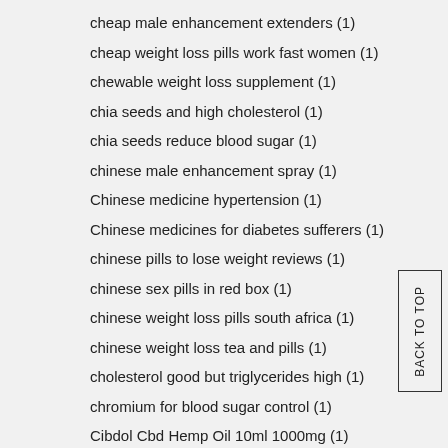cheap male enhancement extenders (1)
cheap weight loss pills work fast women (1)
chewable weight loss supplement (1)
chia seeds and high cholesterol (1)
chia seeds reduce blood sugar (1)
chinese male enhancement spray (1)
Chinese medicine hypertension (1)
Chinese medicines for diabetes sufferers (1)
chinese pills to lose weight reviews (1)
chinese sex pills in red box (1)
chinese weight loss pills south africa (1)
chinese weight loss tea and pills (1)
cholesterol good but triglycerides high (1)
chromium for blood sugar control (1)
Cibdol Cbd Hemp Oil 10ml 1000mg (1)